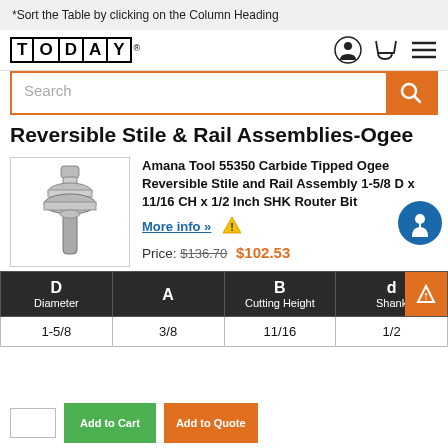*Sort the Table by clicking on the Column Heading
[Figure (logo): TODAY logo with bold letters in bordered boxes, with registered trademark symbol]
[Figure (screenshot): Search bar with orange search button and navigation icons]
Reversible Stile & Rail Assemblies-Ogee
[Figure (photo): Photo of Amana Tool 55350 Carbide Tipped Ogee Reversible Stile and Rail Assembly router bit]
Amana Tool 55350 Carbide Tipped Ogee Reversible Stile and Rail Assembly 1-5/8 D x 11/16 CH x 1/2 Inch SHK Router Bit
More info »
Price: $136.70  $102.53
| D
Diameter | A | B
Cutting Height | d
Shank |
| --- | --- | --- | --- |
| 1-5/8 | 3/8 | 11/16 | 1/2 |